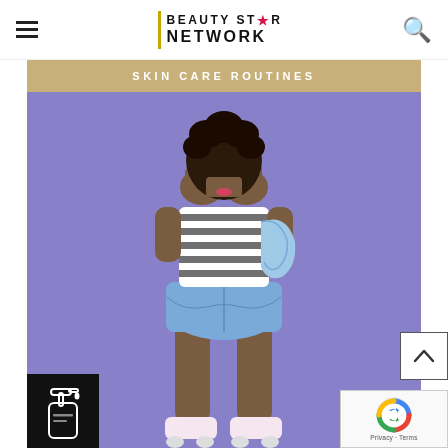BEAUTY STAR NETWORK
SKIN CARE ROUTINES
[Figure (photo): Young woman wearing striped crop top and denim overalls shorts with white roller skates, standing against a purple/lavender background, with hands covering her face]
[Figure (other): Soap dispenser pump bottle icon in white on black background, bottom left corner]
[Figure (other): Back to top arrow button, white square with dark border and upward chevron]
[Figure (other): Google reCAPTCHA badge with logo and Privacy/Terms links]